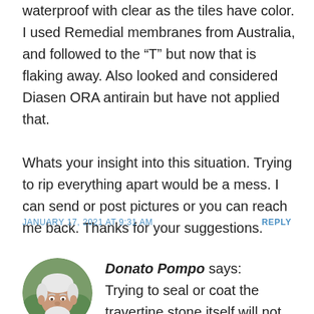waterproof with clear as the tiles have color. I used Remedial membranes from Australia, and followed to the “T” but now that is flaking away. Also looked and considered Diasen ORA antirain but have not applied that.

Whats your insight into this situation. Trying to rip everything apart would be a mess. I can send or post pictures or you can reach me back. Thanks for your suggestions.
JANUARY 17, 2021 AT 9:31 AM
REPLY
[Figure (photo): Circular avatar photo of Donato Pompo, an older man with white hair and beard, smiling, against a green outdoor background.]
Donato Pompo says: Trying to seal or coat the travertine stone itself will not